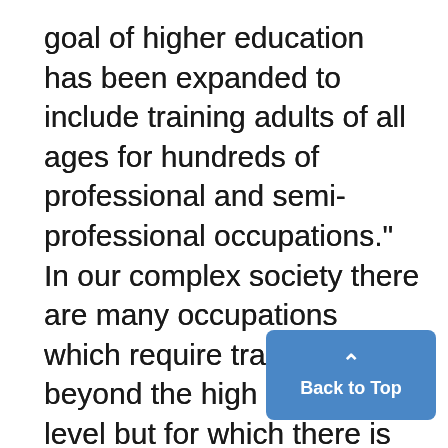goal of higher education has been expanded to include training adults of all ages for hundreds of professional and semi-professional occupations." In our complex society there are many occupations which require training beyond the high school level but for which there is no need for a conventional four-yegr college education. The training of people for such occupations is one of the goals of